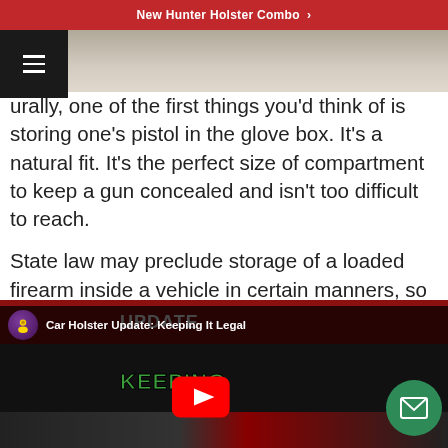New Hunter Holster Combo ›
[Figure (photo): Partial top image strip showing a blurred background scene, partially obscured by a dark hamburger menu overlay in the top-left corner]
urally, one of the first things you'd think of is storing one's pistol in the glove box. It's a natural fit. It's the perfect size of compartment to keep a gun concealed and isn't too difficult to reach.
State law may preclude storage of a loaded firearm inside a vehicle in certain manners, so check your local laws.
[Figure (screenshot): YouTube video thumbnail for 'Car Holster Update: Keeping It Legal' showing a person in a car with a gun, with large red and green bold text overlay, YouTube play button, channel avatar, and an email/envelope floating action button]